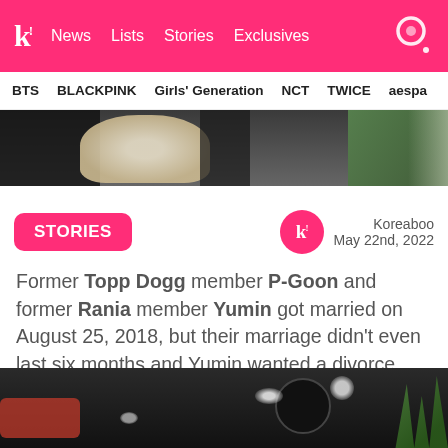k! News Lists Stories Exclusives
BTS BLACKPINK Girls' Generation NCT TWICE aespa
[Figure (photo): Wedding photo strip showing flowers and figures in formal attire]
STORIES
Koreaboo May 22nd, 2022
Former Topp Dogg member P-Goon and former Rania member Yumin got married on August 25, 2018, but their marriage didn't even last six months and Yumin wanted a divorce.
[Figure (photo): Dark indoor photo with lights and green plant]